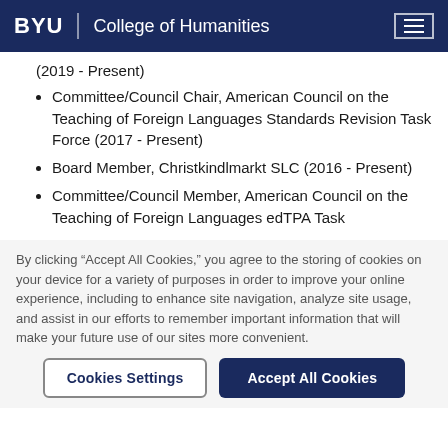BYU | College of Humanities
(2019 - Present)
Committee/Council Chair, American Council on the Teaching of Foreign Languages Standards Revision Task Force (2017 - Present)
Board Member, Christkindlmarkt SLC (2016 - Present)
Committee/Council Member, American Council on the Teaching of Foreign Languages edTPA Task
By clicking “Accept All Cookies,” you agree to the storing of cookies on your device for a variety of purposes in order to improve your online experience, including to enhance site navigation, analyze site usage, and assist in our efforts to remember important information that will make your future use of our sites more convenient.
Cookies Settings | Accept All Cookies